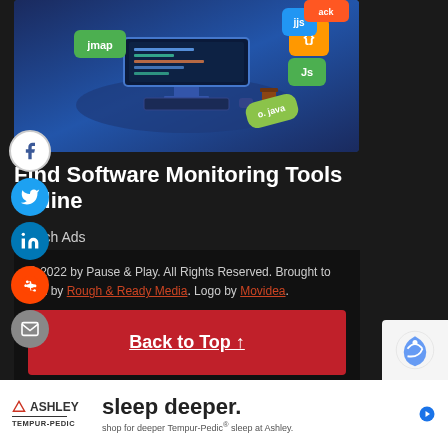[Figure (illustration): Hero image showing isometric illustration of a computer workstation surrounded by colorful programming language/technology badges (jmap, {}, js, java, etc.) on a blue gradient background]
Find Software Monitoring Tools Online
Search Ads
© 2022 by Pause & Play. All Rights Reserved. Brought to you by Rough & Ready Media. Logo by Movidea.
Back to Top ↑
[Figure (other): Ashley Furniture / Tempur-Pedic advertisement banner: 'sleep deeper. shop for deeper Tempur-Pedic® sleep at Ashley.']